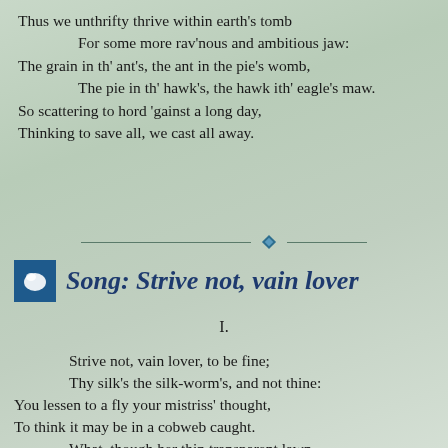Thus we unthrifty thrive within earth's tomb
    For some more rav'nous and ambitious jaw:
The grain in th' ant's, the ant in the pie's womb,
    The pie in th' hawk's, the hawk ith' eagle's maw.
So scattering to hord 'gainst a long day,
Thinking to save all, we cast all away.
Song: Strive not, vain lover
I.
Strive not, vain lover, to be fine;
    Thy silk's the silk-worm's, and not thine:
You lessen to a fly your mistriss' thought,
To think it may be in a cobweb caught.
    What, though her thin transparent lawn
    Thy heart in a strong net hath drawn:
Not all the arms the god of fire ere made
Can the soft bulwarks of nak'd love invade.